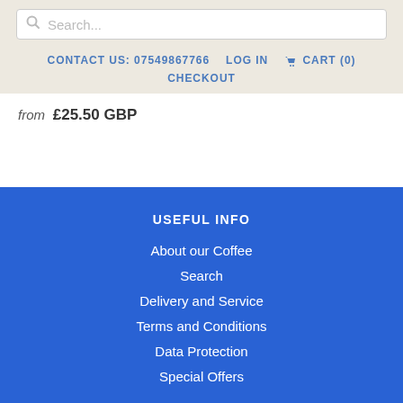Search... | CONTACT US: 07549867766 | LOG IN | CART (0) | CHECKOUT
from £25.50 GBP
USEFUL INFO
About our Coffee
Search
Delivery and Service
Terms and Conditions
Data Protection
Special Offers